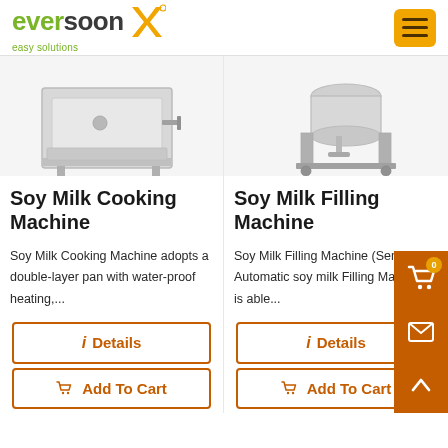[Figure (logo): Eversoon easy solutions logo with green and dark text and orange X icon]
[Figure (photo): Soy Milk Cooking Machine product photo - stainless steel cooking machine]
[Figure (photo): Soy Milk Filling Machine product photo - stainless steel filling machine]
Soy Milk Cooking Machine
Soy Milk Filling Machine
Soy Milk Cooking Machine adopts a double-layer pan with water-proof heating,...
Soy Milk Filling Machine (Semi-Automatic soy milk Filling Machine) is able...
i  Details
i  Details
Add To Cart
Add To Cart